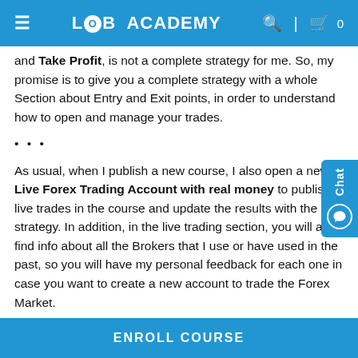LOB ACADEMY
and Take Profit, is not a complete strategy for me. So, my promise is to give you a complete strategy with a whole Section about Entry and Exit points, in order to understand how to open and manage your trades.

...

As usual, when I publish a new course, I also open a new Live Forex Trading Account with real money to publish live trades in the course and update the results with the strategy. In addition, in the live trading section, you will also find info about all the Brokers that I use or have used in the past, so you will have my personal feedback for each one in case you want to create a new account to trade the Forex Market.

Almost all the examples provided in the course are about Forex Trading, but I am confident that you will find the material very useful for other Financial Markets like Stock Trading...
ENROLL COURSE